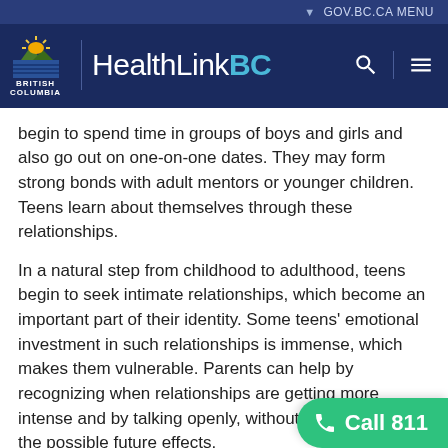HealthLinkBC — GOV.BC.CA MENU
begin to spend time in groups of boys and girls and also go out on one-on-one dates. They may form strong bonds with adult mentors or younger children. Teens learn about themselves through these relationships.
In a natural step from childhood to adulthood, teens begin to seek intimate relationships, which become an important part of their identity. Some teens' emotional investment in such relationships is immense, which makes them vulnerable. Parents can help by recognizing when relationships are getting more intense and by talking openly, without judgment, about the possible future effects.
Related Information
Growth and Development, Ages 15…